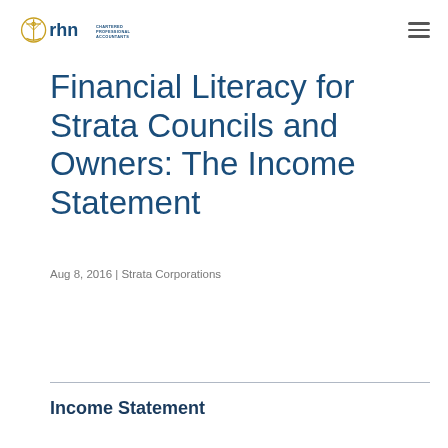rhn CHARTERED PROFESSIONAL ACCOUNTANTS
Financial Literacy for Strata Councils and Owners: The Income Statement
Aug 8, 2016 | Strata Corporations
Income Statement